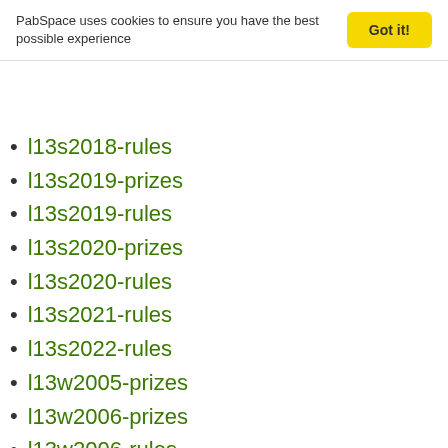PabSpace uses cookies to ensure you have the best possible experience
l13s2018-rules
l13s2019-prizes
l13s2019-rules
l13s2020-prizes
l13s2020-rules
l13s2021-rules
l13s2022-rules
l13w2005-prizes
l13w2006-prizes
l13w2006-rules
l13w2007-prizes
l13w2007-rules
l13w2008-prizes
l13w2008-rules
l13w2009-prizes